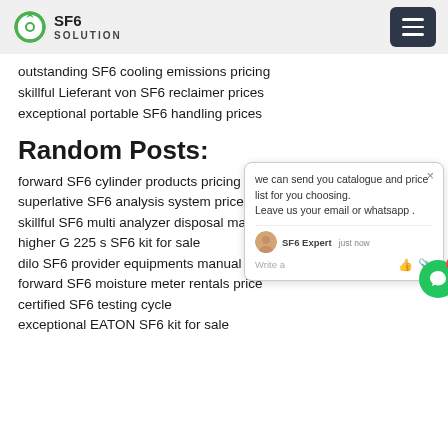SF6 SOLUTION
outstanding SF6 cooling emissions pricing
skillful Lieferant von SF6 reclaimer prices
exceptional portable SF6 handling prices
Random Posts:
forward SF6 cylinder products pricing
superlative SF6 analysis system price
skillful SF6 multi analyzer disposal manu…
higher G 225 s SF6 kit for sale
dilo SF6 provider equipments manual
forward SF6 moisture meter rentals price
certified SF6 testing cycle
exceptional EATON SF6 kit for sale